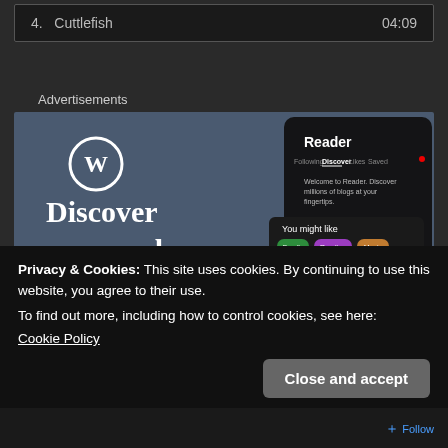4.  Cuttlefish  04:09
Advertisements
[Figure (screenshot): WordPress advertisement showing 'Discover new reads on the go.' with WordPress logo and a phone mockup of the Reader app showing blog discovery features.]
Privacy & Cookies: This site uses cookies. By continuing to use this website, you agree to their use.
To find out more, including how to control cookies, see here:
Cookie Policy
Close and accept